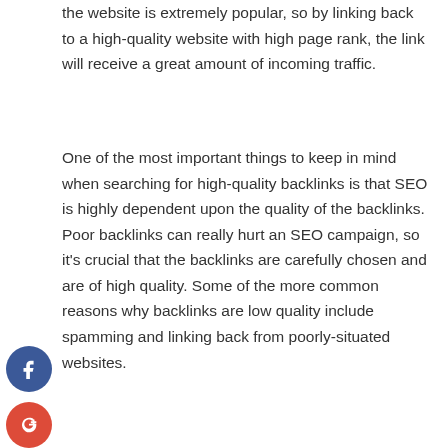the website is extremely popular, so by linking back to a high-quality website with high page rank, the link will receive a great amount of incoming traffic.
One of the most important things to keep in mind when searching for high-quality backlinks is that SEO is highly dependent upon the quality of the backlinks. Poor backlinks can really hurt an SEO campaign, so it's crucial that the backlinks are carefully chosen and are of high quality. Some of the more common reasons why backlinks are low quality include spamming and linking back from poorly-situated websites.
One of the easiest ways to increase the quality of your backlinks is to participate in link forums and comment on other forums. This will provide valuable backlinks back to your site, which is important if you want your website to rank